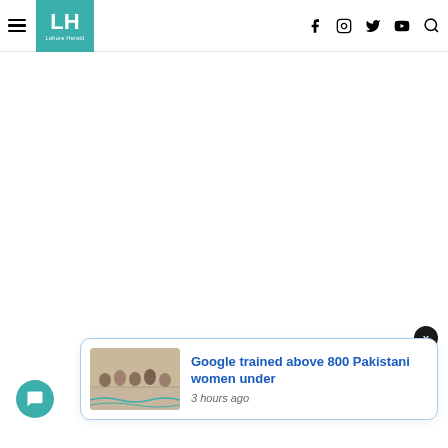Lahore Herald - LH
[Figure (screenshot): Notification card showing news article: Google trained above 800 Pakistani women under, published 3 hours ago, with a group photo thumbnail. Teal chat button at bottom left, X close button, and Lahore Herald logo navigation bar at top.]
Google trained above 800 Pakistani women under
3 hours ago